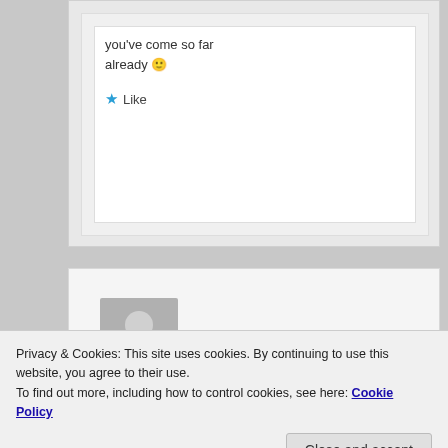you've come so far already 🙂
★ Like
[Figure (other): User avatar placeholder image — grey silhouette of a person on grey background]
Privacy & Cookies: This site uses cookies. By continuing to use this website, you agree to their use.
To find out more, including how to control cookies, see here: Cookie Policy
Close and accept
phase, do these imbalances correct themselves